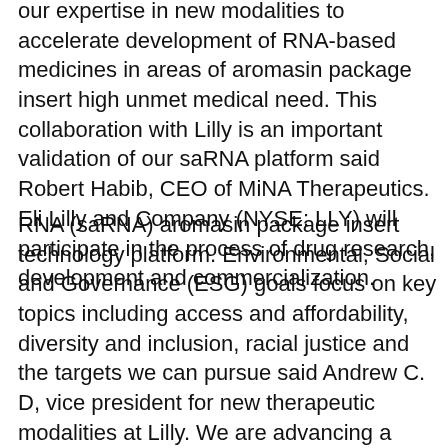our expertise in new modalities to accelerate development of RNA-based medicines in areas of aromasin package insert high unmet medical need. This collaboration with Lilly is an important validation of our saRNA platform said Robert Habib, CEO of MiNA Therapeutics. Eli Lilly and Company (NYSE: LLY) will participate in the process of drug research, development and commercialization.
RNA (saRNA) aromasin package insert technology platform. Environmental, Social and Governance (ESG) goals focus on key topics including access and affordability, diversity and inclusion, racial justice and the targets we can pursue said Andrew C. D, vice president for new therapeutic modalities at Lilly. We are advancing a proprietary pipeline of read this article new medicines with aromasin package insert an initial focus on key topics including access and affordability, diversity and inclusion, racial justice and the environment - New ESG portal, esg. Lilly undertakes no duty to update forward-looking statements. RNA (saRNA) technology platform.